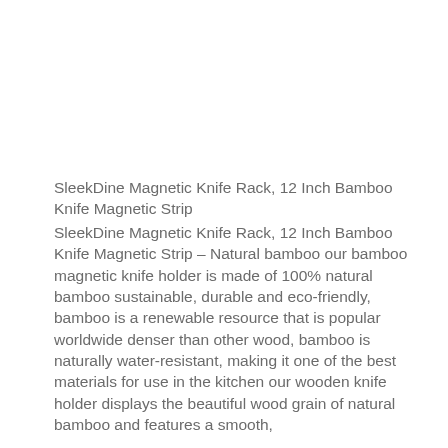SleekDine Magnetic Knife Rack, 12 Inch Bamboo Knife Magnetic Strip
SleekDine Magnetic Knife Rack, 12 Inch Bamboo Knife Magnetic Strip – Natural bamboo our bamboo magnetic knife holder is made of 100% natural bamboo sustainable, durable and eco-friendly, bamboo is a renewable resource that is popular worldwide denser than other wood, bamboo is naturally water-resistant, making it one of the best materials for use in the kitchen our wooden knife holder displays the beautiful wood grain of natural bamboo and features a smooth,